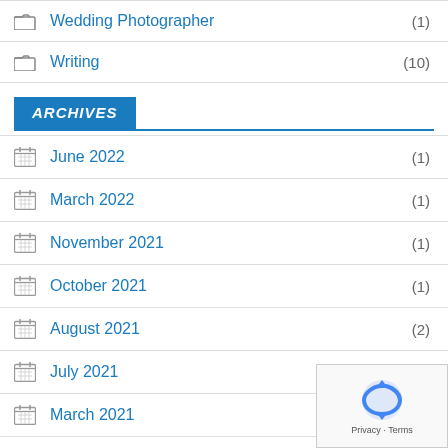Wedding Photographer (1)
Writing (10)
ARCHIVES
June 2022 (1)
March 2022 (1)
November 2021 (1)
October 2021 (1)
August 2021 (2)
July 2021 (1)
March 2021 (2)
February 2021
January 2021 (2)